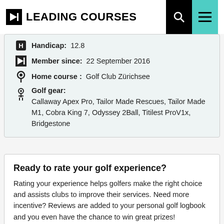LEADING COURSES
Handicap: 12.8
Member since: 22 September 2016
Home course: Golf Club Zürichsee
Golf gear: Callaway Apex Pro, Tailor Made Rescues, Tailor Made M1, Cobra King 7, Odyssey 2Ball, Titilest ProV1x, Bridgestone
Ready to rate your golf experience?
Rating your experience helps golfers make the right choice and assists clubs to improve their services. Need more incentive? Reviews are added to your personal golf logbook and you even have the chance to win great prizes!